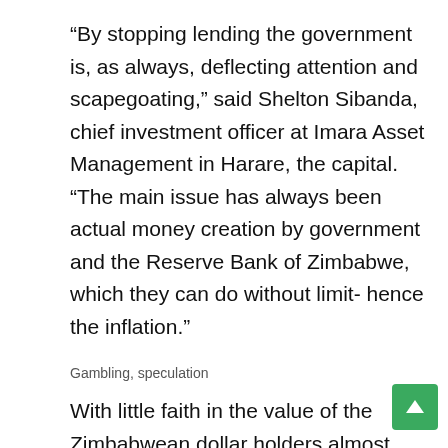“By stopping lending the government is, as always, deflecting attention and scapegoating,” said Shelton Sibanda, chief investment officer at Imara Asset Management in Harare, the capital. “The main issue has always been actual money creation by government and the Reserve Bank of Zimbabwe, which they can do without limit- hence the inflation.”
Gambling, speculation
With little faith in the value of the Zimbabwean dollar holders almost immediately turn to the black market